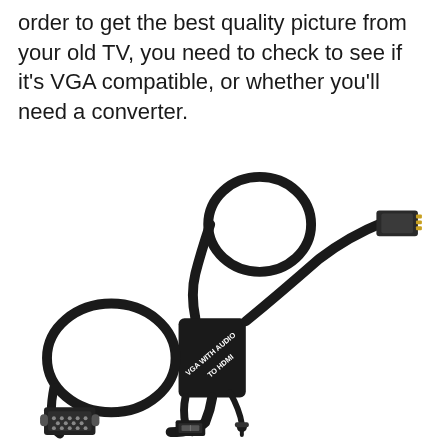order to get the best quality picture from your old TV, you need to check to see if it's VGA compatible, or whether you'll need a converter.
[Figure (photo): A VGA with Audio to HDMI converter device shown with black cables, a VGA connector, USB connector, 3.5mm audio jack, and an HDMI connector. The black converter box is labeled 'VGA WITH AUDIO TO HDMI'.]